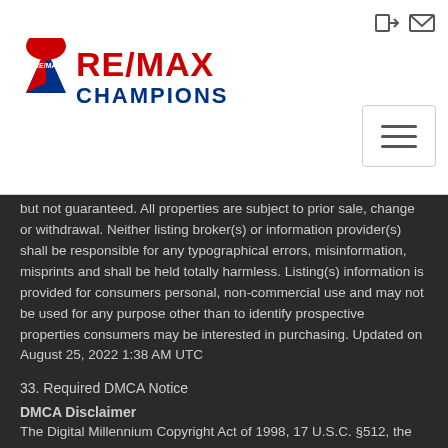[Figure (logo): RE/MAX Champions logo with red and blue text and balloon icon]
but not guaranteed. All properties are subject to prior sale, change or withdrawal. Neither listing broker(s) or information provider(s) shall be responsible for any typographical errors, misinformation, misprints and shall be held totally harmless. Listing(s) information is provided for consumers personal, non-commercial use and may not be used for any purpose other than to identify prospective properties consumers may be interested in purchasing. Updated on August 25, 2022 1:38 AM UTC
33. Required DMCA Notice
DMCA Disclaimer
The Digital Millennium Copyright Act of 1998, 17 U.S.C. §512, the